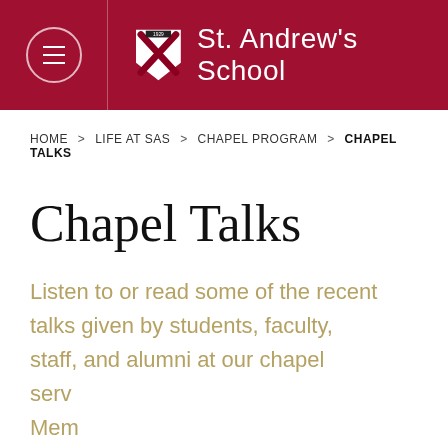St. Andrew's School
HOME > LIFE AT SAS > CHAPEL PROGRAM > CHAPEL TALKS
Chapel Talks
Listen to or read some of the recent talks given by students, faculty, staff, and alumni at our chapel services. Members of the St. Andrew's
This website uses cookies to provide a better web experience. GOT IT!